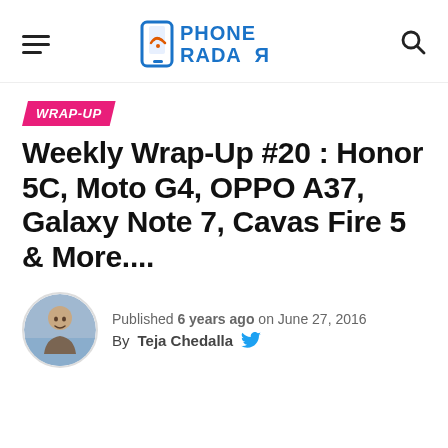Phone Radar
WRAP-UP
Weekly Wrap-Up #20 : Honor 5C, Moto G4, OPPO A37, Galaxy Note 7, Cavas Fire 5 & More....
Published 6 years ago on June 27, 2016
By Teja Chedalla